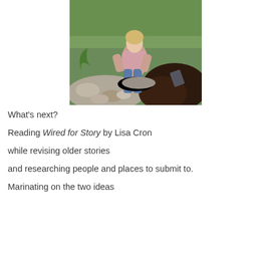[Figure (photo): A woman sitting on rocks in a garden/yard area with green grass in the background and dark shrubs/mulch in the foreground]
What's next?
Reading Wired for Story by Lisa Cron
while revising older stories
and researching people and places to submit to.
Marinating on the two ideas